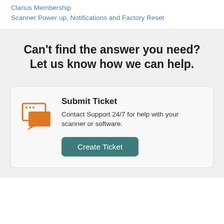Clarius Membership
Scanner Power up, Notifications and Factory Reset
Can't find the answer you need? Let us know how we can help.
[Figure (illustration): Orange speech bubble / ticket submission icon — two overlapping chat/browser window shapes in orange outline and solid orange]
Submit Ticket
Contact Support 24/7 for help with your scanner or software.
Create Ticket